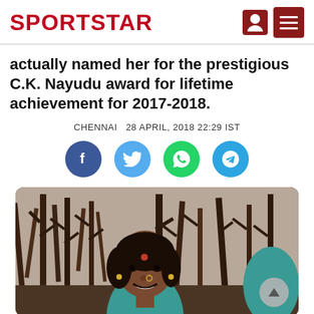SPORTSTAR
actually named her for the prestigious C.K. Nayudu award for lifetime achievement for 2017-2018.
CHENNAI  28 APRIL, 2018 22:29 IST
[Figure (infographic): Social media share buttons: Facebook (blue circle), Twitter (light blue circle), WhatsApp (green circle), Telegram (cyan circle)]
[Figure (photo): Portrait photo of a smiling Indian woman with a bindi, nose ring, and earrings, wearing a teal/turquoise outfit, with trees in the background]